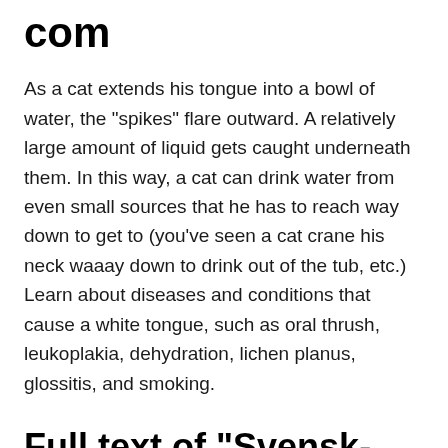com
As a cat extends his tongue into a bowl of water, the "spikes" flare outward. A relatively large amount of liquid gets caught underneath them. In this way, a cat can drink water from even small sources that he has to reach way down to get to (you've seen a cat crane his neck waaay down to drink out of the tub, etc.) Learn about diseases and conditions that cause a white tongue, such as oral thrush, leukoplakia, dehydration, lichen planus, glossitis, and smoking.
Full text of "Svensk-engelsk teknisk ordbok" - Internet Archive